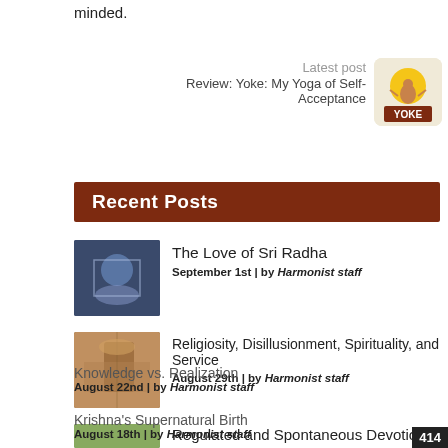minded.
Latest post
Review: Yoke: My Yoga of Self-Acceptance
[Figure (photo): Book cover image for Yoke: My Yoga of Self-Acceptance showing a person in yoga pose with yellow circle background and text YOKE]
Recent Posts
The Love of Sri Radha
September 1st | by Harmonist staff
Religiosity, Disillusionment, Spirituality, and Service
August 29th | by Harmonist staff
Regulated and Spontaneous Devotion
August 25th | by Harmonist staff
Knowledge vs. Realization
August 22nd | by Harmonist staff
Krishna's Supernatural Birth
August 18th | by Harmonist staff
414